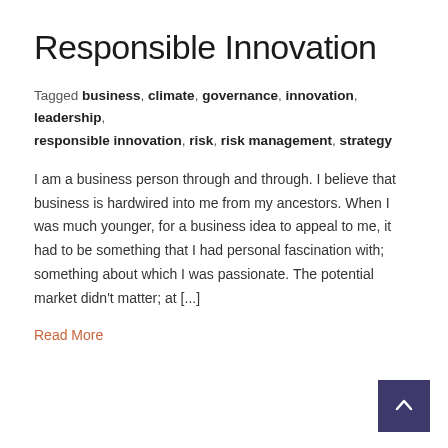Responsible Innovation
Tagged business, climate, governance, innovation, leadership, responsible innovation, risk, risk management, strategy
I am a business person through and through. I believe that business is hardwired into me from my ancestors. When I was much younger, for a business idea to appeal to me, it had to be something that I had personal fascination with; something about which I was passionate. The potential market didn’t matter; at [...]
Read More